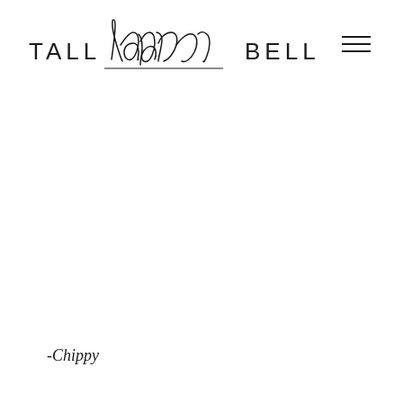[Figure (logo): Tall Blonde Bell logo with handwritten cursive 'blonde' underlined between uppercase sans-serif TALL and BELL, with hamburger menu icon on the right]
-Chippy